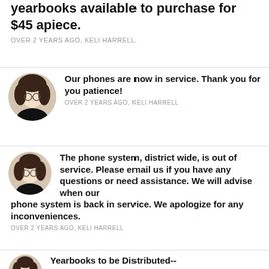yearbooks available to purchase for $45 apiece.
OVER 2 YEARS AGO, KELI HARRELL
Our phones are now in service. Thank you for you patience!
OVER 2 YEARS AGO, KELI HARRELL
The phone system, district wide, is out of service. Please email us if you have any questions or need assistance. We will advise when our phone system is back in service. We apologize for any inconveniences.
OVER 2 YEARS AGO, KELI HARRELL
Yearbooks to be Distributed--